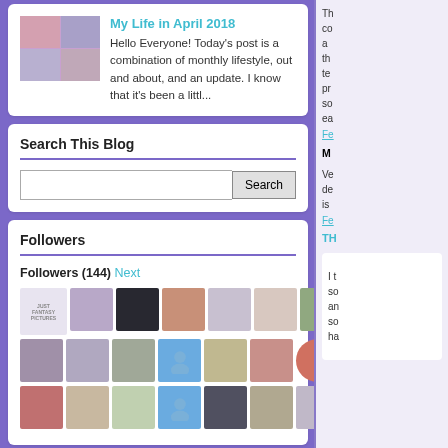My Life in April 2018
Hello Everyone! Today's post is a combination of monthly lifestyle, out and about, and an update. I know that it's been a littl...
Search This Blog
Followers
Followers (144) Next
Th co a th te pr so ea
Fe
M
Ve de is
Fe
TH
I t so an so ha